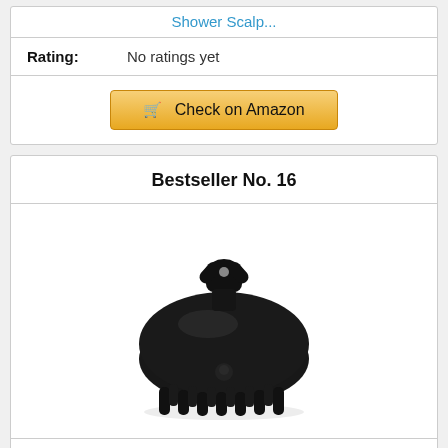Shower Scalp...
| Rating: | No ratings yet |
| --- | --- |
Check on Amazon
Bestseller No. 16
[Figure (photo): Black silicone scalp massager shampoo brush with soft flexible bristles on the bottom and a handle/strap on top]
FREATECH Scalp Massager Shampoo Brush with Soft & Flexible Silicone Bristles for Hair